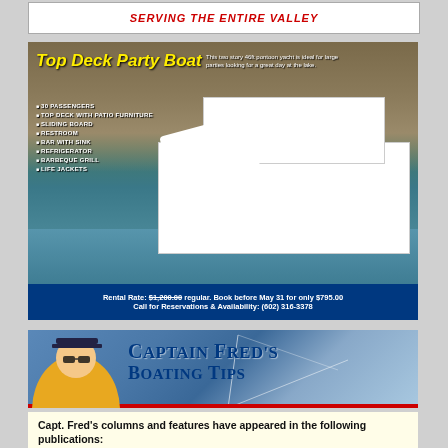SERVING THE ENTIRE VALLEY
[Figure (photo): Top Deck Party Boat advertisement showing a two-story 46ft pontoon yacht on a lake with people using a water slide, swimming, and relaxing on the boat. Features list and rental rate information shown.]
Top Deck Party Boat
This two story 46ft pontoon yacht is ideal for large parties looking for a great day at the lake.
30 PASSENGERS
TOP DECK WITH PATIO FURNITURE
SLIDING BOARD
RESTROOM
BAR WITH SINK
REFRIGERATOR
BARBEQUE GRILL
LIFE JACKETS
Rental Rate: $1,200.00 regular. Book before May 31 for only $795.00
Call for Reservations & Availability: (602) 316-3378
[Figure (photo): Captain Fred's Boating Tips header image showing a man in a yellow jacket and captain's hat on a boat with water in background]
Captain Fred's Boating Tips
Capt. Fred's columns and features have appeared in the following publications:
Continuing Ed Magazine  •  Heartland Boating Magazine